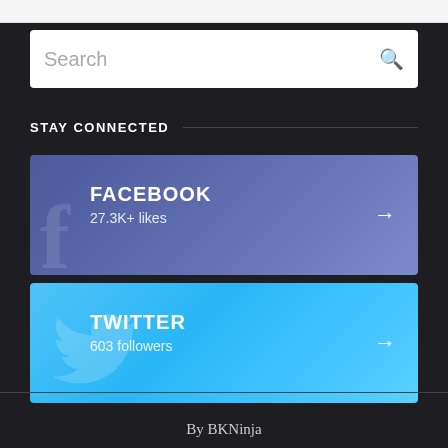[Figure (screenshot): Search bar with placeholder text 'Search' and a magnifying glass icon on dark background]
STAY CONNECTED
[Figure (infographic): Facebook social card with Facebook logo watermark, title FACEBOOK, subtitle 27.3K+ likes, and arrow pointing right]
[Figure (infographic): Twitter social card with Twitter bird watermark, title TWITTER, subtitle 603 followers, and arrow pointing right]
By BKNinja